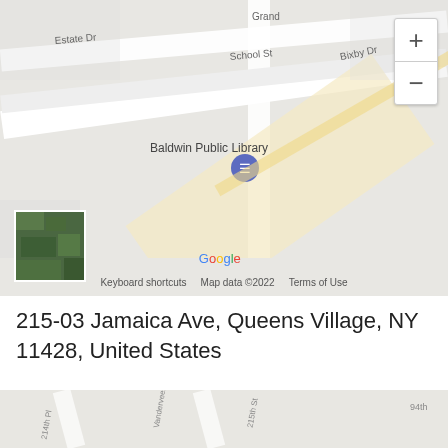[Figure (map): Google Map screenshot showing Baldwin area with Baldwin Public Library, streets including Estate Dr, School St, Grand Ave, Bixby Dr. Shows zoom controls (+/-), satellite thumbnail, Google logo, keyboard shortcuts, Map data ©2022, Terms of Use.]
215-03 Jamaica Ave, Queens Village, NY 11428, United States
[Figure (map): Embedded Google Map showing Law Offices Of Roman A... with 'View larger map' link. Shows streets 214th Pl, Vanderveer St, 215th St, 94th, nearby landmarks Happy Hearts Children's Village LLC WeeCare, Capital One Bank, Chase Bank, Law Offices Of Queens Village Roman Aminov. Red pin marker visible.]